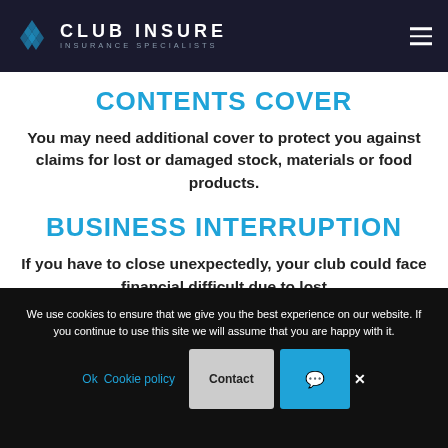CLUB INSURE INSURANCE SPECIALISTS
CONTENTS COVER
You may need additional cover to protect you against claims for lost or damaged stock, materials or food products.
BUSINESS INTERRUPTION
If you have to close unexpectedly, your club could face financial difficult due to lost
We use cookies to ensure that we give you the best experience on our website. If you continue to use this site we will assume that you are happy with it. Ok Cookie policy